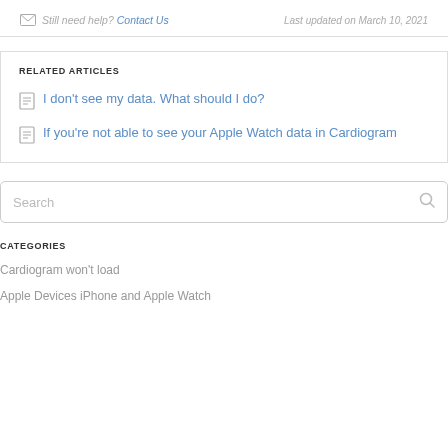Still need help? Contact Us   Last updated on March 10, 2021
RELATED ARTICLES
I don't see my data. What should I do?
If you're not able to see your Apple Watch data in Cardiogram
Search
CATEGORIES
Cardiogram won't load
Apple Devices iPhone and Apple Watch